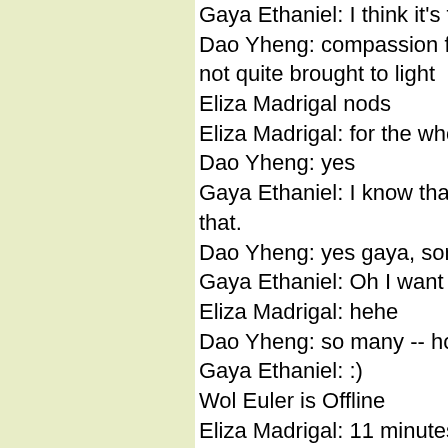Gaya Ethaniel: I think it's fine not to lik
Dao Yheng: compassion for this irritati
not quite brought to light
Eliza Madrigal nods
Eliza Madrigal: for the whole situation
Dao Yheng: yes
Gaya Ethaniel: I know that this person
that.
Dao Yheng: yes gaya, sometimes we h
Gaya Ethaniel: Oh I want to hear abou
Eliza Madrigal: hehe
Dao Yheng: so many -- how much time
Gaya Ethaniel: :)
Wol Euler is Offline
Eliza Madrigal: 11 minutes
Eliza Madrigal: quick, go
Eliza Madrigal: :)
Gaya Ethaniel: go go
Dao Yheng: cats who walk on my head
Eliza Madrigal: hahaha
Dao Yheng: people who listen to the tv
Bleu Oleander is Offline